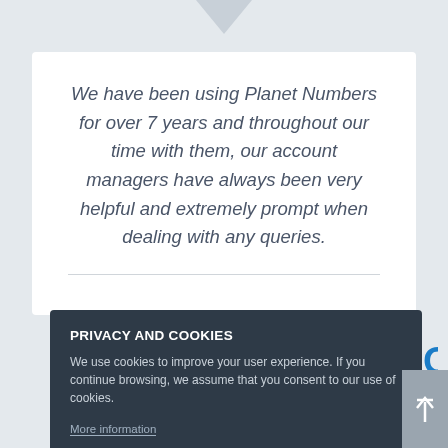We have been using Planet Numbers for over 7 years and throughout our time with them, our account managers have always been very helpful and extremely prompt when dealing with any queries.
[Figure (screenshot): Privacy and cookies consent overlay on a website. Contains title 'PRIVACY AND COOKIES', body text about cookie usage, 'More information' link, and an 'ACCEPT' button. A BigDug logo is partially visible behind the overlay.]